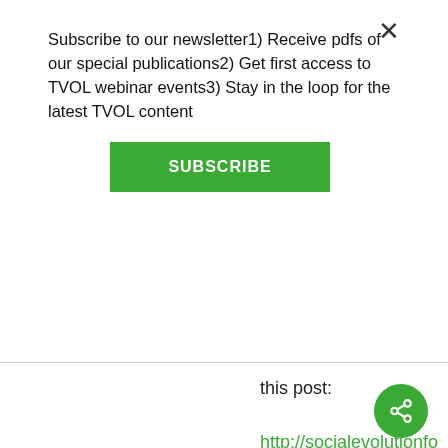Subscribe to our newsletter1) Receive pdfs of our special publications2) Get first access to TVOL webinar events3) Stay in the loop for the latest TVOL content
SUBSCRIBE
this post:
http://socialevolutionfo group-selection- in-phase- transition/
In one sentence,